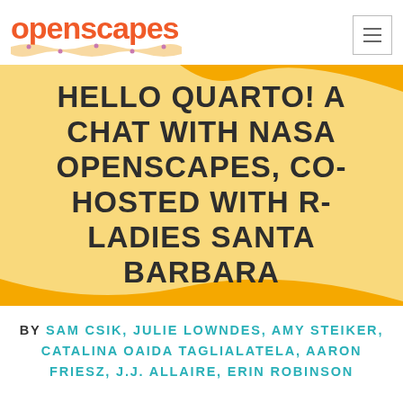openscapes
HELLO QUARTO! A CHAT WITH NASA OPENSCAPES, CO-HOSTED WITH R-LADIES SANTA BARBARA
BY SAM CSIK, JULIE LOWNDES, AMY STEIKER, CATALINA OAIDA TAGLIALATELA, AARON FRIESZ, J.J. ALLAIRE, ERIN ROBINSON